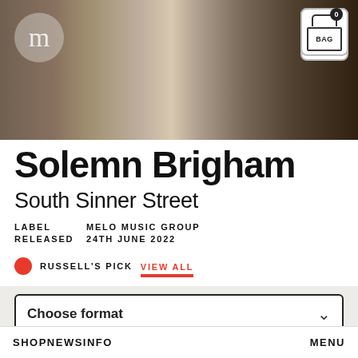[Figure (photo): Hero banner image showing figures in dark clothing, partially cropped, with a logo circle (m) on left and shopping bag icon (0 / BAG) on upper right]
Solemn Brigham
South Sinner Street
LABEL   MELO MUSIC GROUP
RELEASED   24TH JUNE 2022
● RUSSELL'S PICK   VIEW ALL
Choose format
SHOP   NEWS   INFO   MENU